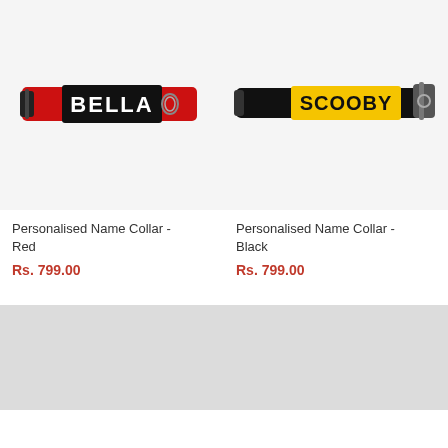[Figure (photo): Red personalised dog collar with white embroidered name tag reading BELLA, with metal D-ring hardware]
[Figure (photo): Black personalised dog collar with yellow embroidered name tag reading SCOOBY, with metal buckle hardware]
Personalised Name Collar - Red
Rs. 799.00
Personalised Name Collar - Black
Rs. 799.00
[Figure (photo): Product image placeholder - partially visible, light gray background]
[Figure (photo): Product image placeholder - partially visible, light gray background]